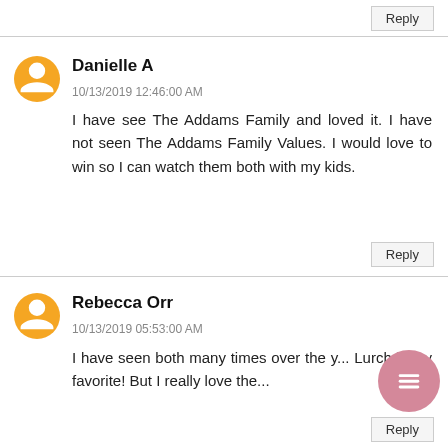Reply
Danielle A
10/13/2019 12:46:00 AM
I have see The Addams Family and loved it. I have not seen The Addams Family Values. I would love to win so I can watch them both with my kids.
Reply
Rebecca Orr
10/13/2019 05:53:00 AM
I have seen both many times over the y... Lurch is my favorite! But I really love the...
Reply